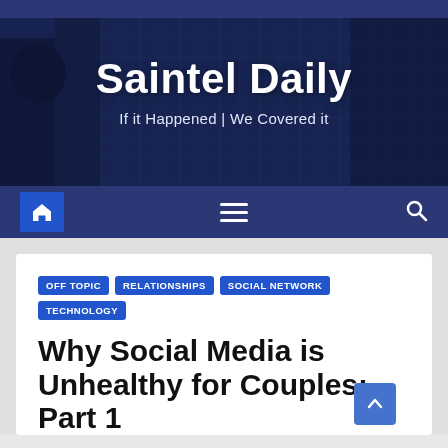[Figure (screenshot): Saintel Daily website banner with building glass exterior background, site title 'Saintel Daily' and tagline 'If it Happened | We Covered it']
Saintel Daily — If it Happened | We Covered it
OFF TOPIC
RELATIONSHIPS
SOCIAL NETWORK
TECHNOLOGY
Why Social Media is Unhealthy for Couples: Part 1